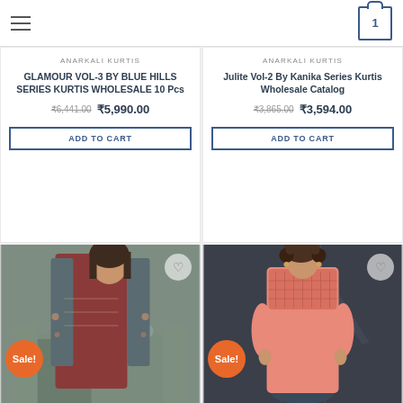Navigation header with hamburger menu and cart icon showing 1 item
ANARKALI KURTIS
GLAMOUR VOL-3 BY BLUE HILLS SERIES KURTIS WHOLESALE 10 Pcs
₹6,441.00 ₹5,990.00
ADD TO CART
ANARKALI KURTIS
Julite Vol-2 By Kanika Series Kurtis Wholesale Catalog
₹3,865.00 ₹3,594.00
ADD TO CART
[Figure (photo): Woman wearing a dark maroon and grey anarkali kurti with floral print jacket, standing in front of a decorative backdrop with a Sale! badge]
[Figure (photo): Woman wearing a peach/salmon colored kurti with embroidered yoke, standing in front of a dark grey background with flowers, Sale! badge visible]